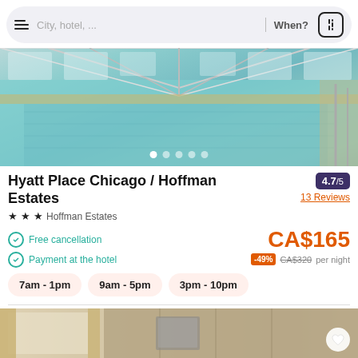[Figure (screenshot): Search bar with hamburger menu, city/hotel search field, When? date filter, and filter button]
[Figure (photo): Indoor swimming pool with teal water, large windows, and structural ceiling elements]
Hyatt Place Chicago / Hoffman Estates
4.7/5
13 Reviews
★★★ Hoffman Estates
Free cancellation
Payment at the hotel
CA$165
-49% CA$320 per night
7am - 1pm
9am - 5pm
3pm - 10pm
[Figure (photo): Hotel room interior with wooden wall panels, curtains, and a framed picture]